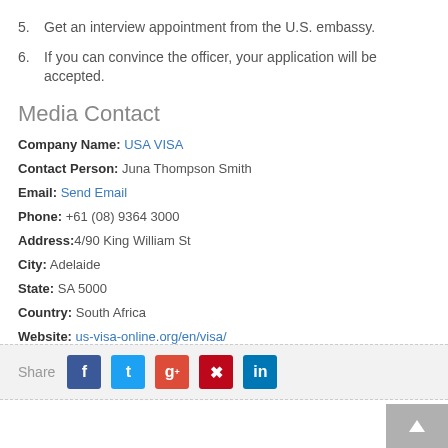5.  Get an interview appointment from the U.S. embassy.
6.  If you can convince the officer, your application will be accepted.
Media Contact
Company Name: USA VISA
Contact Person: Juna Thompson Smith
Email: Send Email
Phone: +61 (08) 9364 3000
Address:4/90 King William St
City: Adelaide
State: SA 5000
Country: South Africa
Website: us-visa-online.org/en/visa/
Share